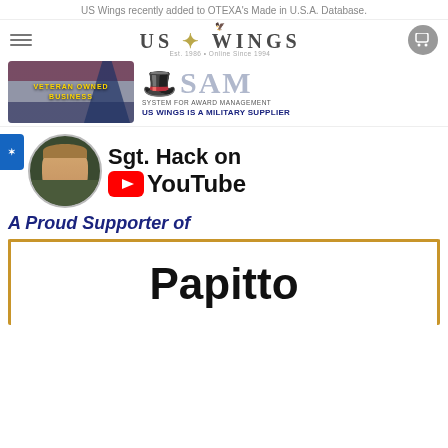US Wings recently added to OTEXA's Made in U.S.A. Database.
[Figure (logo): US Wings logo with eagle, Est. 1986 Online Since 1994, hamburger menu and cart icon]
[Figure (logo): Veteran Owned Business badge and SAM System for Award Management logo with text US WINGS IS A MILITARY SUPPLIER]
[Figure (illustration): Sgt. Hack portrait circle photo of uniformed soldier, with YouTube logo and text: Sgt. Hack on YouTube]
A Proud Supporter of
Papitto